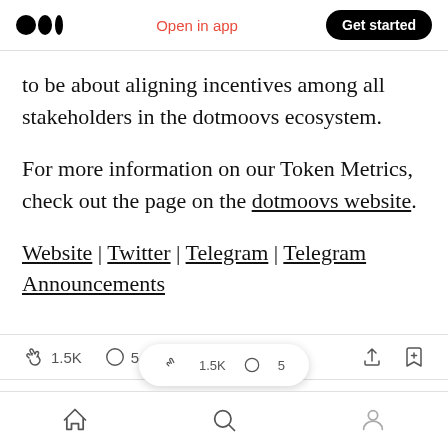Medium app header — logo, Open in app, Get started
to be about aligning incentives among all stakeholders in the dotmoovs ecosystem.
For more information on our Token Metrics, check out the page on the dotmoovs website.
Website | Twitter | Telegram | Telegram Announcements
👏 1.5K  💬 5  [share icon] [bookmark icon]